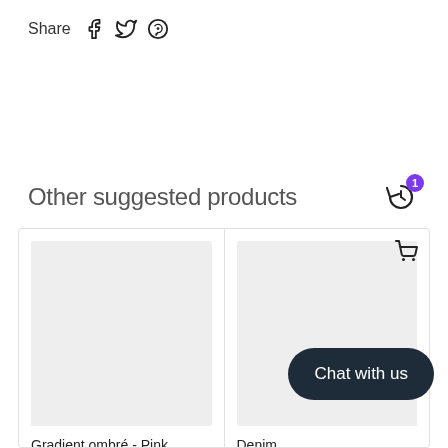Share
[Figure (screenshot): E-commerce product page section showing 'Other suggested products' with two product cards. Left card: Gradient ombré - Pink purple, From $9.99. Right card: Denim ..., From $9.99. Social share icons (Facebook, Twitter, Pinterest), history icon with badge '1', cart icon, and 'Chat with us' bubble overlay.]
Other suggested products
Gradient ombré - Pink purple
From $9.99
Denim
From $9.99
Chat with us